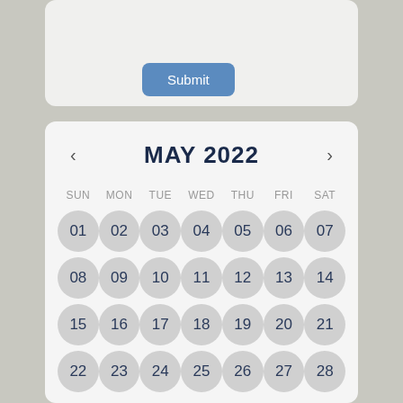[Figure (screenshot): UI card with a Submit button on a grey background]
[Figure (screenshot): May 2022 calendar widget showing days 01-28 arranged in a weekly grid with SUN-SAT headers, each date shown as a grey circle]